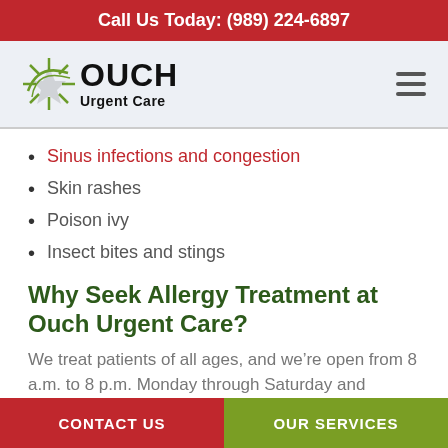Call Us Today: (989) 224-6897
[Figure (logo): Ouch Urgent Care logo with starburst graphic and text]
Sinus infections and congestion
Skin rashes
Poison ivy
Insect bites and stings
Why Seek Allergy Treatment at Ouch Urgent Care?
We treat patients of all ages, and we’re open from 8 a.m. to 8 p.m. Monday through Saturday and
CONTACT US | OUR SERVICES